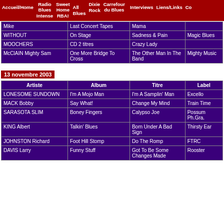Accueil/Home  Radio Blues Intense  Sweet Home RBA!  All Blues  Dixie Rock  Carrefour du Blues  Interviews  Liens/Links  Co
| Artiste | Album | Titre | Label |
| --- | --- | --- | --- |
| Mike | Last Concert Tapes | Mama |  |
| WITHOUT | On Stage | Sadness & Pain | Magic Blues |
| MOOCHERS | CD 2 titres | Crazy Lady |  |
| McClAIN Mighty Sam | One More Bridge To Cross | The Other Man In The Band | Mighty Music |
13 novembre 2003
| Artiste | Album | Titre | Label |
| --- | --- | --- | --- |
| LONESOME SUNDOWN | I'm A Mojo Man | I'm A Samplin' Man | Excello |
| MACK Bobby | Say What! | Change My Mind | Train Time |
| SARASOTA SLIM | Boney Fingers | Calypso Joe | Possum Ph.Gra. |
| KING Albert | Talkin' Blues | Born Under A Bad Sign | Thirsty Ear |
| JOHNSTON Richard | Foot Hill Stomp | Do The Romp | FTRC |
| DAVIS Larry | Funny Stuff | Got To Be Some Changes Made | Rooster |